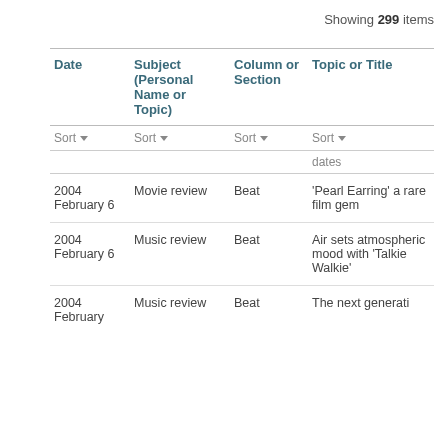Showing 299 items
| Date | Subject (Personal Name or Topic) | Column or Section | Topic or Title |
| --- | --- | --- | --- |
| Sort | Sort | Sort | Sort |
|  |  |  | dates |
| 2004 February 6 | Movie review | Beat | 'Pearl Earring' a rare film gem |
| 2004 February 6 | Music review | Beat | Air sets atmospheric mood with 'Talkie Walkie' |
| 2004 February | Music review | Beat | The next generati |